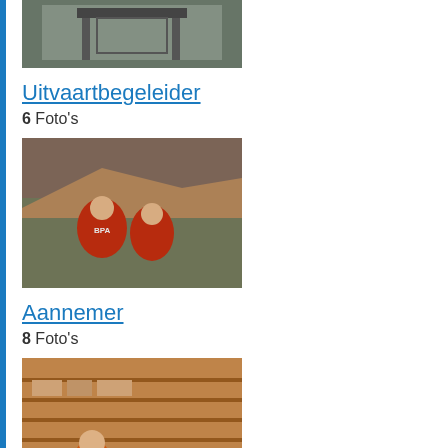[Figure (photo): Thumbnail of a building gate - Uitvaartbegeleider]
Uitvaartbegeleider
6 Foto's
[Figure (photo): Thumbnail of workers in red BPA shirts outdoors - Aannemer]
Aannemer
8 Foto's
[Figure (photo): Thumbnail of a person in orange shirt in a print/warehouse environment - Printoperator]
Printoperator
8 Foto's
[Figure (photo): Thumbnail of a street scene with a person and orange-white post]